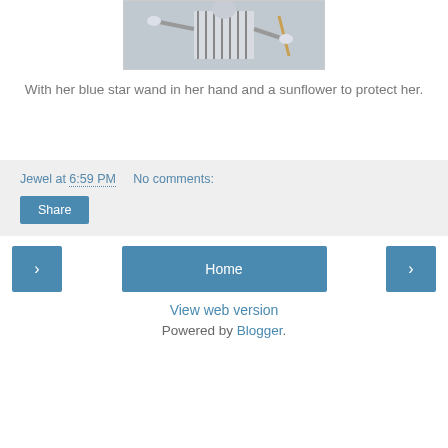[Figure (photo): A person in a striped costume holding a stick/wand, wearing white gloves]
With her blue star wand in her hand and a sunflower to protect her.
Jewel at 6:59 PM   No comments:
Share
< Home >
View web version
Powered by Blogger.